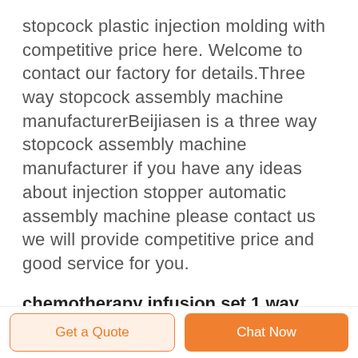stopcock plastic injection molding with competitive price here. Welcome to contact our factory for details.Three way stopcock assembly machine manufacturerBeijiasen is a three way stopcock assembly machine manufacturer if you have any ideas about injection stopper automatic assembly machine please contact us we will provide competitive price and good service for you.
chemotherapy infusion set 1 way with 2 x needle
Get a Quote   Chat Now